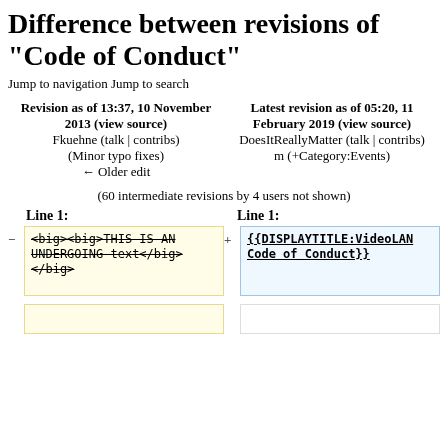Difference between revisions of "Code of Conduct"
Jump to navigation Jump to search
| Revision as of 13:37, 10 November 2013 (view source) | Latest revision as of 05:20, 11 February 2019 (view source) |
| --- | --- |
| Fkuehne (talk | contribs)
(Minor typo fixes)
← Older edit | DoesItReallyMatter (talk | contribs)
m (+Category:Events) |
(60 intermediate revisions by 4 users not shown)
Line 1:   Line 1:
| - | code cell left | + | code cell right |
| --- | --- | --- | --- |
| <big><big>THIS IS AN UNDERGOING text</big>
</big> | {{DISPLAYTITLE:VideoLAN Code of Conduct}} |